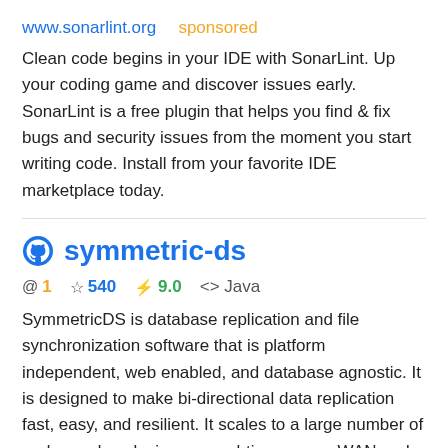www.sonarlint.org    sponsored
Clean code begins in your IDE with SonarLint. Up your coding game and discover issues early. SonarLint is a free plugin that helps you find & fix bugs and security issues from the moment you start writing code. Install from your favorite IDE marketplace today.
symmetric-ds
@ 1  ☆ 540  ⚡ 9.0  <> Java
SymmetricDS is database replication and file synchronization software that is platform independent, web enabled, and database agnostic. It is designed to make bi-directional data replication fast, easy, and resilient. It scales to a large number of nodes and works in near real-time across WAN and LAN networks.